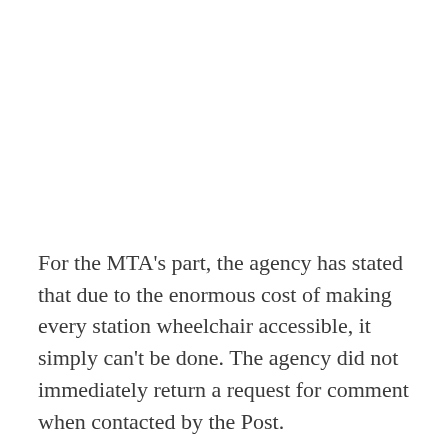For the MTA’s part, the agency has stated that due to the enormous cost of making every station wheelchair accessible, it simply can’t be done. The agency did not immediately return a request for comment when contacted by the Post.